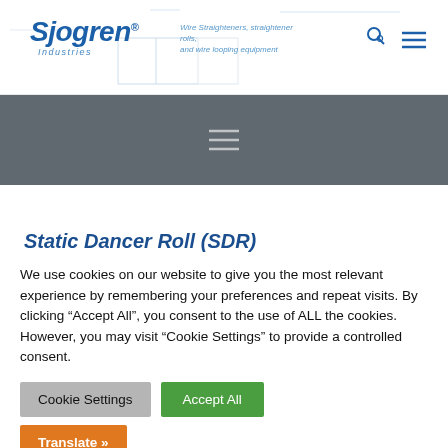Sjogren Industries — Wire Straighteners, straightener rolls, and wire looping equipment
[Figure (screenshot): Dark navigation bar with hamburger menu icon (three horizontal lines) centered on a gray background]
Static Dancer Roll (SDR)
We use cookies on our website to give you the most relevant experience by remembering your preferences and repeat visits. By clicking "Accept All", you consent to the use of ALL the cookies. However, you may visit "Cookie Settings" to provide a controlled consent.
Cookie Settings | Accept All | Translate »